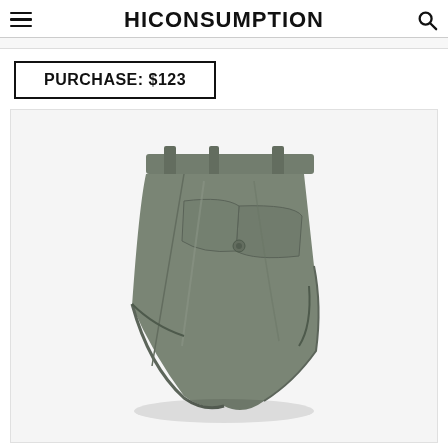HICONSUMPTION
PURCHASE: $123
[Figure (photo): Back view of olive/grey men's shorts with belt loops, back pockets including a welt pocket with button, shown on white/light grey background]